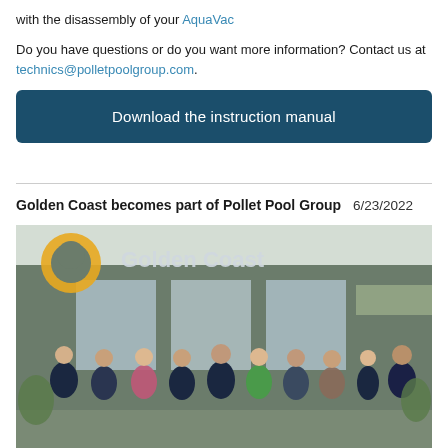with the disassembly of your AquaVac
Do you have questions or do you want more information? Contact us at technics@polletpoolgroup.com.
Download the instruction manual
Golden Coast becomes part of Pollet Pool Group   6/23/2022
[Figure (photo): Group photo of approximately 10 business professionals standing in front of a Golden Coast branded building. The building has a large golden arc logo and 'Golden Coast' sign. People are dressed in business attire; one woman in a green blazer stands in the center.]